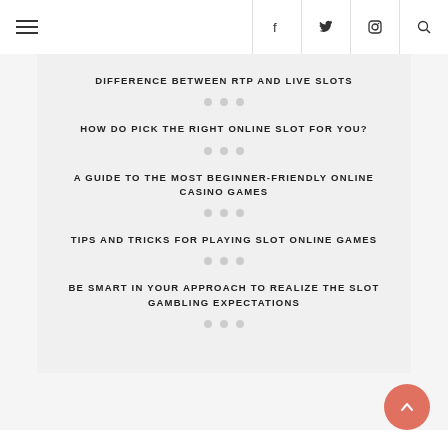Navigation header with hamburger menu and social icons (f, twitter, instagram, search)
DIFFERENCE BETWEEN RTP AND LIVE SLOTS
HOW DO PICK THE RIGHT ONLINE SLOT FOR YOU?
A GUIDE TO THE MOST BEGINNER-FRIENDLY ONLINE CASINO GAMES
TIPS AND TRICKS FOR PLAYING SLOT ONLINE GAMES
BE SMART IN YOUR APPROACH TO REALIZE THE SLOT GAMBLING EXPECTATIONS